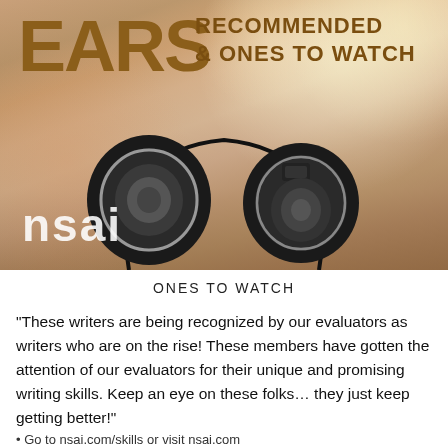[Figure (photo): Header image showing close-up of black headphones on a surface with bokeh background. Text overlays read 'EARS RECOMMENDED & ONES TO WATCH' in brown/gold and 'NSAI' in white at bottom left.]
ONES TO WATCH
"These writers are being recognized by our evaluators as writers who are on the rise! These members have gotten the attention of our evaluators for their unique and promising writing skills. Keep an eye on these folks… they just keep getting better!"
• Go to nsai.com/skills or visit nsai.com